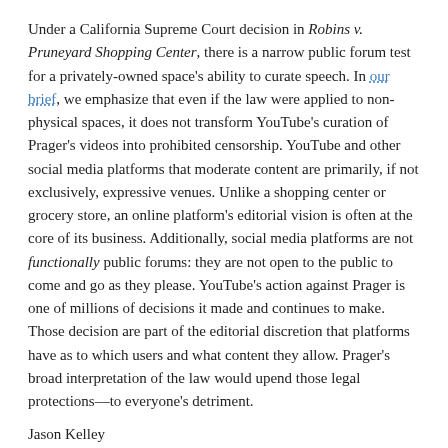Under a California Supreme Court decision in Robins v. Pruneyard Shopping Center, there is a narrow public forum test for a privately-owned space's ability to curate speech. In our brief, we emphasize that even if the law were applied to non-physical spaces, it does not transform YouTube's curation of Prager's videos into prohibited censorship. YouTube and other social media platforms that moderate content are primarily, if not exclusively, expressive venues. Unlike a shopping center or grocery store, an online platform's editorial vision is often at the core of its business. Additionally, social media platforms are not functionally public forums: they are not open to the public to come and go as they please. YouTube's action against Prager is one of millions of decisions it made and continues to make. Those decision are part of the editorial discretion that platforms have as to which users and what content they allow. Prager's broad interpretation of the law would upend those legal protections—to everyone's detriment.
Jason Kelley
EFF Opposes Anti-Fiber, Anti-Affordability Legislation in California That Will Raise Prices on Middle Income Users
EFF update